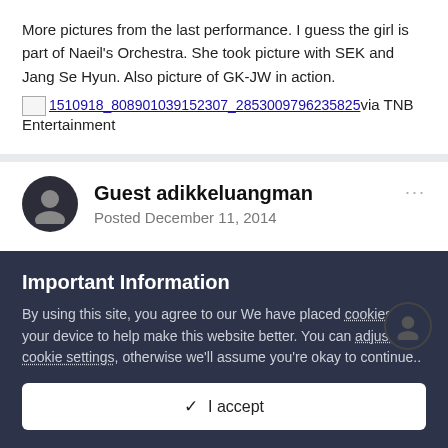More pictures from the last performance. I guess the girl is part of Naeil's Orchestra. She took picture with SEK and Jang Se Hyun. Also picture of GK-JW in action.
[Figure (screenshot): Broken image placeholder with filename link: 1510918_808901039152307_2853009796235825 followed by text 'via TNB Entertainment']
Guest adikkeluangman
Posted December 11, 2014
Casts and staff in the last day of filming. Looks like everyone were there except SEK.
[Figure (screenshot): Broken image placeholder with filename: B4fVi-2CEAAtx6o.jpg]
Important Information
By using this site, you agree to our We have placed cookies on your device to help make this website better. You can adjust your cookie settings, otherwise we'll assume you're okay to continue..
I accept